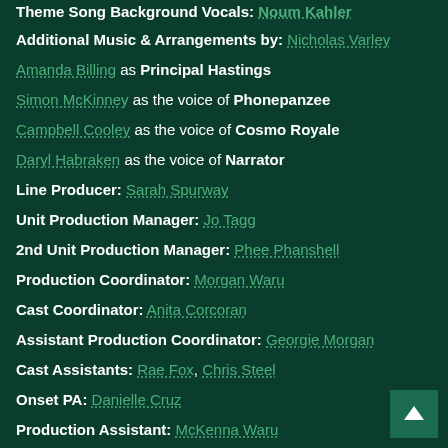Theme Song Background Vocals: Noum Kahler
Additional Music & Arrangements by: Nicholas Varley
Amanda Billing as Principal Hastings
Simon McKinney as the voice of Phonepanzee
Campbell Cooley as the voice of Cosmo Royale
Daryl Habraken as the voice of Narrator
Line Producer: Sarah Spurway
Unit Production Manager: Jo Tagg
2nd Unit Production Manager: Phee Phanshell
Production Coordinator: Morgan Waru
Cast Coordinator: Anita Corcoran
Assistant Production Coordinator: Georgie Morgan
Cast Assistants: Rae Fox, Chris Steel
Onset PA: Danielle Cruz
Production Assistant: McKenna Waru